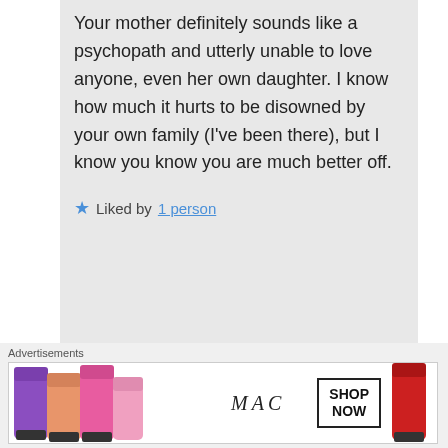Your mother definitely sounds like a psychopath and utterly unable to love anyone, even her own daughter. I know how much it hurts to be disowned by your own family (I've been there), but I know you know you are much better off.
★ Liked by 1 person
marypranzatelli on June 17, 2015 at 11:37
[Figure (photo): Advertisement banner for MAC cosmetics showing lipsticks and SHOP NOW button]
Advertisements